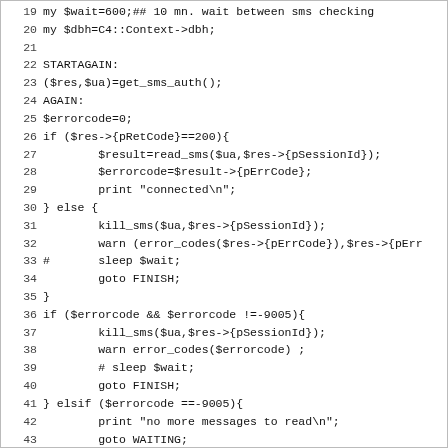[Figure (screenshot): Code listing in monospace font showing Perl source code lines 19-50, with line numbers on the left and code content on the right, on a white background with a light border.]